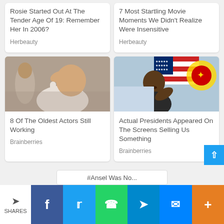Rosie Started Out At The Tender Age Of 19: Remember Her In 2006?
Herbeauty
7 Most Startling Movie Moments We Didn't Realize Were Insensitive
Herbeauty
[Figure (photo): Elderly man in white shirt touching his forehead]
8 Of The Oldest Actors Still Working
Brainberries
[Figure (photo): Man gesturing in front of American flag and ASEAN logo]
Actual Presidents Appeared On The Screens Selling Us Something
Brainberries
SHARES